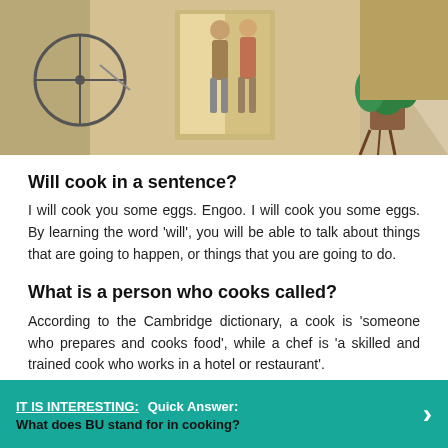[Figure (illustration): Illustration of people at what appears to be a building entrance with a bicycle and a potted plant.]
Will cook in a sentence?
I will cook you some eggs. Engoo. I will cook you some eggs. By learning the word ‘will’, you will be able to talk about things that are going to happen, or things that you are going to do.
What is a person who cooks called?
According to the Cambridge dictionary, a cook is ‘someone who prepares and cooks food’, while a chef is ‘a skilled and trained cook who works in a hotel or restaurant’.
IT IS INTERESTING:  Quick Answer: What does BU stand for in cooking?